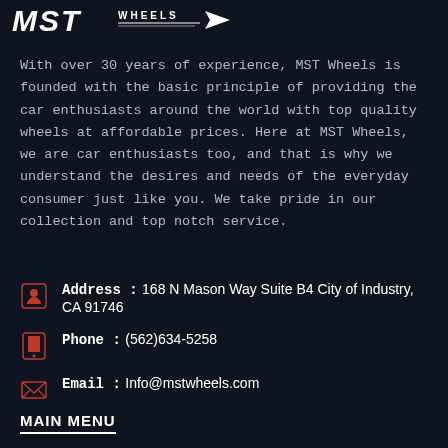[Figure (logo): MST Wheels logo with stylized letters and arrow graphic]
With over 30 years of experience, MST Wheels is founded with the basic principle of providing the car enthusiasts around the world with top quality wheels at affordable prices. Here at MST Wheels, we are car enthusiasts too, and that is why we understand the desires and needs of the everyday consumer just like you. We take pride in our collection and top notch service.
Address : 168 N Mason Way Suite B4 City of Industry, CA 91746
Phone : (562)634-5258
Email : Info@mstwheels.com
MAIN MENU